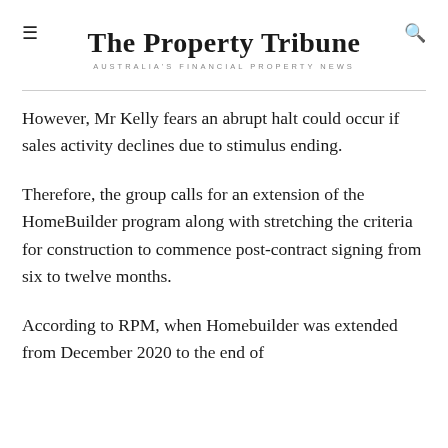The Property Tribune
AUSTRALIA'S FINANCIAL PROPERTY NEWS
However, Mr Kelly fears an abrupt halt could occur if sales activity declines due to stimulus ending.
Therefore, the group calls for an extension of the HomeBuilder program along with stretching the criteria for construction to commence post-contract signing from six to twelve months.
According to RPM, when Homebuilder was extended from December 2020 to the end of